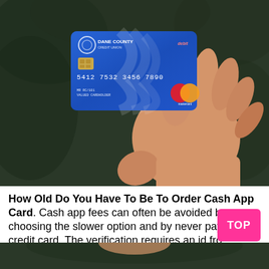[Figure (photo): A hand holding a Dane County Credit Union blue debit Mastercard against a dark green blurred background]
How Old Do You Have To Be To Order Cash App Card. Cash app fees can often be avoided by choosing the slower option and by never paying by credit card. The verification requires an id from the user, which means minors do.
[Figure (photo): Bottom portion of another photo, appears to be a similar scene with dark green background]